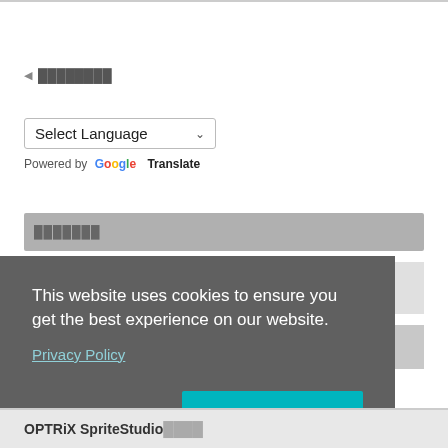◀ ████████
Select Language ▾
Powered by Google Translate
███████
This website uses cookies to ensure you get the best experience on our website.
Privacy Policy
Deny
OK
OPTRiX SpriteStudio████